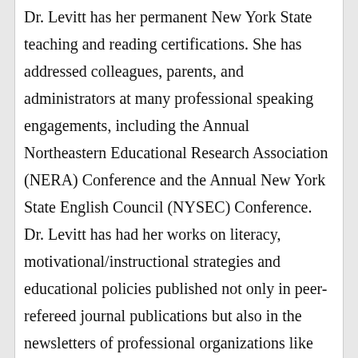Dr. Levitt has her permanent New York State teaching and reading certifications. She has addressed colleagues, parents, and administrators at many professional speaking engagements, including the Annual Northeastern Educational Research Association (NERA) Conference and the Annual New York State English Council (NYSEC) Conference. Dr. Levitt has had her works on literacy, motivational/instructional strategies and educational policies published not only in peer- refereed journal publications but also in the newsletters of professional organizations like New York State English Council (NYSEC) and Long Island Language Arts Council (LILAC). She also has served as a peer reviewer for several international journals and professional organizations, such as NERA and NYSEC. Currently, she is the Co-President of Phi Delta Kappa Chapter 1524, the local chapter of an International association for educators.  She has formerly served as Vice